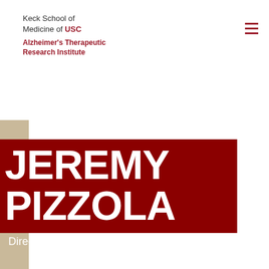[Figure (logo): Keck School of Medicine of USC logo with Alzheimer's Therapeutic Research Institute text]
JEREMY PIZZOLA
Director, Administration